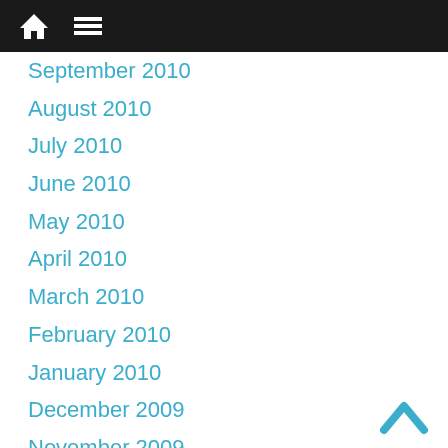Navigation bar with home and menu icons
September 2010
August 2010
July 2010
June 2010
May 2010
April 2010
March 2010
February 2010
January 2010
December 2009
November 2009
October 2009
September 2009
August 2009
July 2009
June 2009